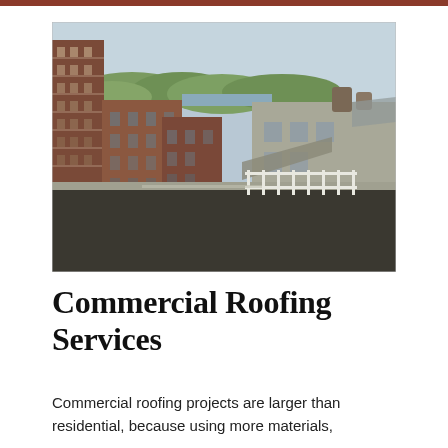[Figure (photo): Aerial/elevated view from a flat commercial rooftop looking out over an urban cityscape. In the foreground is a flat black rooftop with a white fence railing. Behind it are multiple multi-story brick buildings including a tall red-brick building on the left with many windows, and brown/red brick commercial buildings in the center. In the background are tree-covered hills and a pale blue sky. On the right side is a grey/beige industrial building with mechanical equipment on the roof.]
Commercial Roofing Services
Commercial roofing projects are larger than residential, because using more materials,